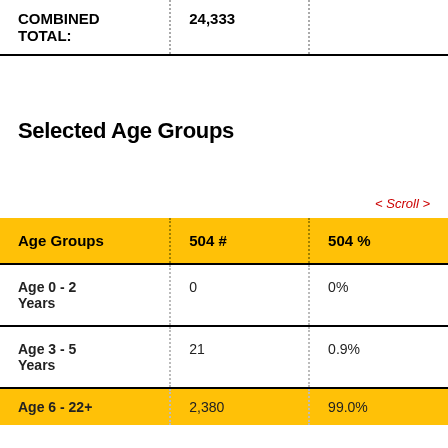| COMBINED TOTAL: |  |  |
| --- | --- | --- |
| COMBINED TOTAL: | 24,333 |  |
Selected Age Groups
< Scroll >
| Age Groups | 504 # | 504 % |
| --- | --- | --- |
| Age 0 - 2 Years | 0 | 0% |
| Age 3 - 5 Years | 21 | 0.9% |
| Age 6 - 22+ | 2,380 | 99.0% |